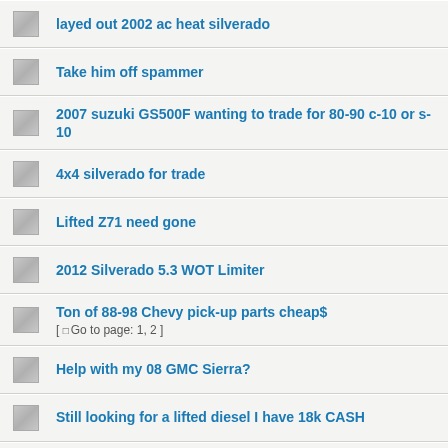layed out 2002 ac heat silverado
Take him off spammer
2007 suzuki GS500F wanting to trade for 80-90 c-10 or s-10
4x4 silverado for trade
Lifted Z71 need gone
2012 Silverado 5.3 WOT Limiter
Ton of 88-98 Chevy pick-up parts cheap$ [ Go to page: 1, 2 ]
Help with my 08 GMC Sierra?
Still looking for a lifted diesel I have 18k CASH
Trade my Denali for your one ton or 3/4 ton.
looking for a 1999-2006 chevy bed
z71 wanted